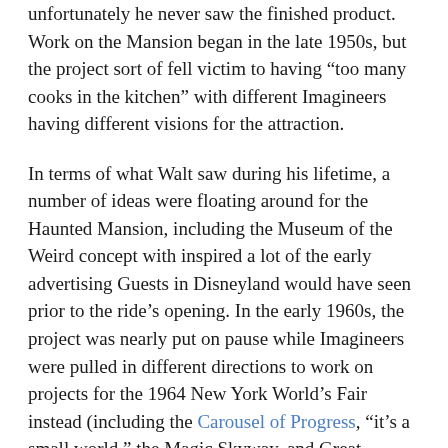unfortunately he never saw the finished product. Work on the Mansion began in the late 1950s, but the project sort of fell victim to having “too many cooks in the kitchen” with different Imagineers having different visions for the attraction.
In terms of what Walt saw during his lifetime, a number of ideas were floating around for the Haunted Mansion, including the Museum of the Weird concept with inspired a lot of the early advertising Guests in Disneyland would have seen prior to the ride’s opening. In the early 1960s, the project was nearly put on pause while Imagineers were pulled in different directions to work on projects for the 1964 New York World’s Fair instead (including the Carousel of Progress, “it’s a small world,” the Magic Skyway, and Great Moments with Mr. Lincoln.)
The fair ended in October of 1965, and Imagineers were back to work on the Haunted Mansion attraction, creating some of the classic effects we see in the ride today, but that